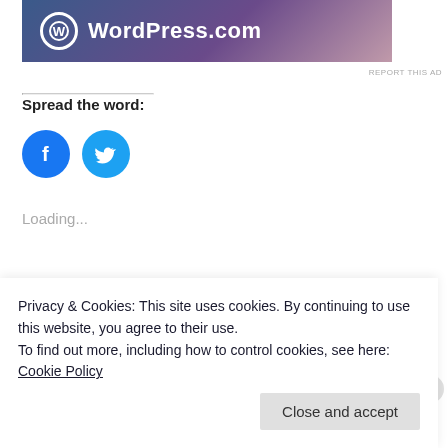[Figure (logo): WordPress.com banner with blue-to-purple gradient background, WordPress logo circle and WordPress.com text in white]
REPORT THIS AD
Spread the word:
[Figure (infographic): Two circular social media share buttons: Facebook (blue circle with 'f' icon) and Twitter (lighter blue circle with bird icon)]
Loading...
Related
Finding Its Way: Gordon
Junto March Madness
Privacy & Cookies: This site uses cookies. By continuing to use this website, you agree to their use.
To find out more, including how to control cookies, see here: Cookie Policy
Close and accept